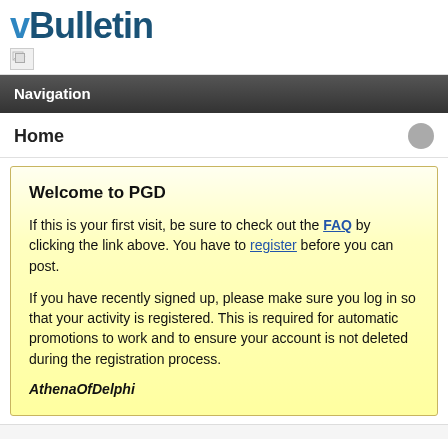vBulletin
Navigation
Home
Welcome to PGD
If this is your first visit, be sure to check out the FAQ by clicking the link above. You have to register before you can post.

If you have recently signed up, please make sure you log in so that your activity is registered. This is required for automatic promotions to work and to ensure your account is not deleted during the registration process.
AthenaOfDelphi